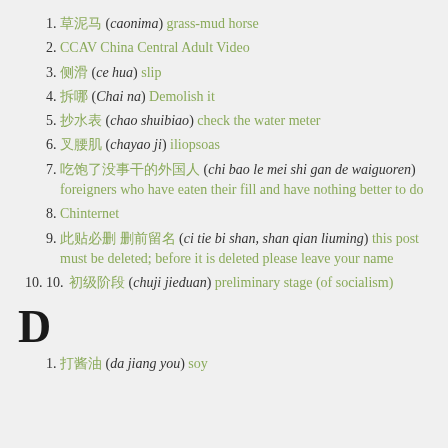1. 草泥马 (caonima) grass-mud horse
2. CCAV China Central Adult Video
3. 侧滑 (ce hua) slip
4. 拆哪 (Chai na) Demolish it
5. 抄水表 (chao shuibiao) check the water meter
6. 叉腰肌 (chayao ji) iliopsoas
7. 吃饱了没事干的外国人 (chi bao le mei shi gan de waiguoren) foreigners who have eaten their fill and have nothing better to do
8. Chinternet
9. 此贴必删 删前留名 (ci tie bi shan, shan qian liuming) this post must be deleted; before it is deleted please leave your name
10. 初级阶段 (chuji jieduan) preliminary stage (of socialism)
D
1. 打酱油 (da jiang you) soy sauce